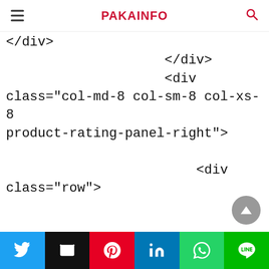PAKAINFO
</div>
</div>
<div class="col-md-8 col-sm-8 col-xs-8 product-rating-panel-right">

<div class="row">

<div class="col-md-12 col-sm-12 col-xs-12">

<i class="fa fa-star" aria-hidden="true"></i>
Twitter | Email | Pinterest | LinkedIn | WhatsApp | LINE